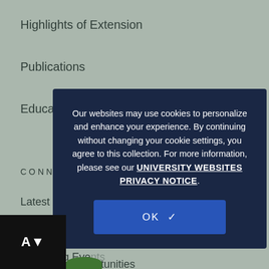Highlights of Extension
Publications
Educational Videos
CONNECT WITH US
Latest News
Extension Blog
Upcoming Events
News & Announcements
Internship Opportunities
Find a Specialist
Our websites may use cookies to personalize and enhance your experience. By continuing without changing your cookie settings, you agree to this collection. For more information, please see our UNIVERSITY WEBSITES PRIVACY NOTICE.
OK ✓